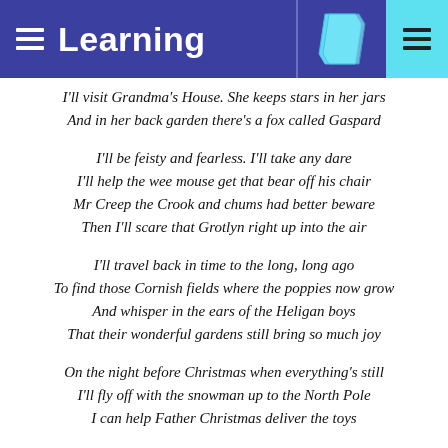Learning
I'll visit Grandma's House. She keeps stars in her jars
And in her back garden there's a fox called Gaspard

I'll be feisty and fearless. I'll take any dare
I'll help the wee mouse get that bear off his chair
Mr Creep the Crook and chums had better beware
Then I'll scare that Grotlyn right up into the air

I'll travel back in time to the long, long ago
To find those Cornish fields where the poppies now grow
And whisper in the ears of the Heligan boys
That their wonderful gardens still bring so much joy

On the night before Christmas when everything's still
I'll fly off with the snowman up to the North Pole
I can help Father Christmas deliver the toys